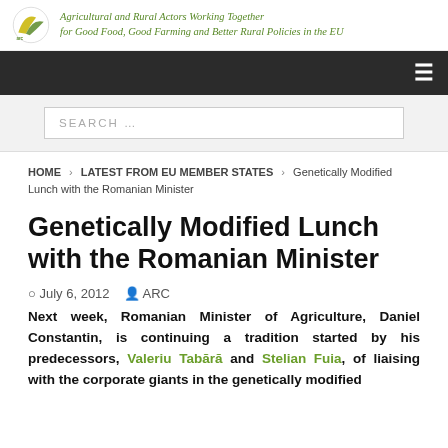Agricultural and Rural Actors Working Together for Good Food, Good Farming and Better Rural Policies in the EU
SEARCH …
HOME > LATEST FROM EU MEMBER STATES > Genetically Modified Lunch with the Romanian Minister
Genetically Modified Lunch with the Romanian Minister
July 6, 2012   ARC
Next week, Romanian Minister of Agriculture, Daniel Constantin, is continuing a tradition started by his predecessors, Valeriu Tabără and Stelian Fuia, of liaising with the corporate giants in the genetically modified